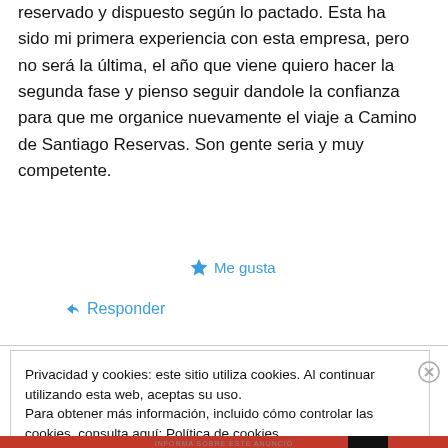reservado y dispuesto según lo pactado. Esta ha sido mi primera experiencia con esta empresa, pero no será la última, el año que viene quiero hacer la segunda fase y pienso seguir dandole la confianza para que me organice nuevamente el viaje a Camino de Santiago Reservas. Son gente seria y muy competente.
★ Me gusta
↪ Responder
Privacidad y cookies: este sitio utiliza cookies. Al continuar utilizando esta web, aceptas su uso.
Para obtener más información, incluido cómo controlar las cookies, consulta aquí: Política de cookies
Cerrar y aceptar